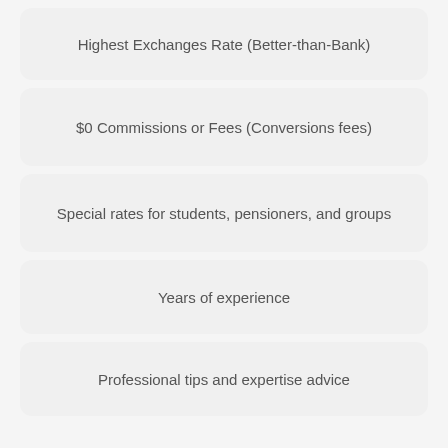Highest Exchanges Rate (Better-than-Bank)
$0 Commissions or Fees (Conversions fees)
Special rates for students, pensioners, and groups
Years of experience
Professional tips and expertise advice